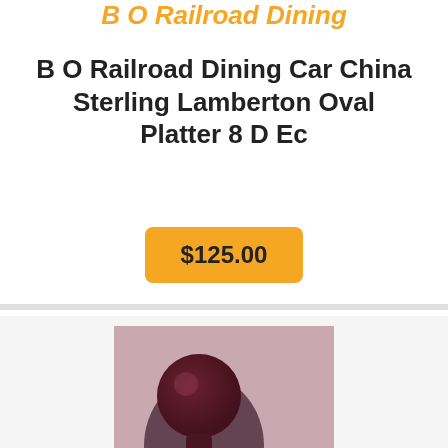B O Railroad Dining
B O Railroad Dining Car China Sterling Lamberton Oval Platter 8 D Ec
$125.00
[Figure (photo): Photo of a small dark red/maroon ceramic or glass stopper with a brass medallion/stamp on the bottom, shown against a pink/mauve background.]